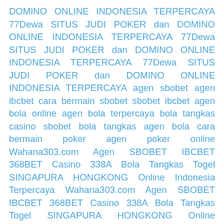DOMINO ONLINE INDONESIA TERPERCAYA 77Dewa SITUS JUDI POKER dan DOMINO ONLINE INDONESIA TERPERCAYA 77Dewa SITUS JUDI POKER dan DOMINO ONLINE INDONESIA TERPERCAYA 77Dewa SITUS JUDI POKER dan DOMINO ONLINE INDONESIA TERPERCAYA agen sbobet agen ibcbet cara bermain sbobet sbobet ibcbet agen bola online agen bola terpercaya bola tangkas casino sbobet bola tangkas agen bola cara bermain poker agen poker online Wahana303.com Agen SBOBET IBCBET 368BET Casino 338A Bola Tangkas Togel SINGAPURA HONGKONG Online Indonesia Terpercaya Wahana303.com Agen SBOBET IBCBET 368BET Casino 338A Bola Tangkas Togel SINGAPURA HONGKONG Online Indonesia Terpercaya Wahana303.com Agen SBOBET IBCBET 368BET Casino 338A Bola Tangkas Togel SINGAPURA HONGKONG Online Indonesia Terpercaya Wahana303.com Agen SBOBET IBCBET 368BET Casino 338A Bola Tangkas Togel SINGAPURA HONGKONG Online Indonesia Terpercaya Wahana303.com Agen SBOBET IBCBET 368BET Casino 338A Bola Tangkas Togel SINGAPURA HONGKONG Online Indonesia